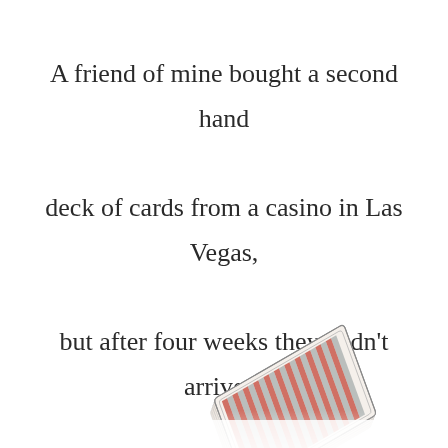A friend of mine bought a second hand deck of cards from a casino in Las Vegas, but after four weeks they hadn't arrived. When he asked for an update, they said they were still dealing with his order.
[Figure (photo): A deck of playing cards shown in perspective/angled view, fanned slightly, showing card backs with striped pattern in red and blue/gray tones, positioned in the lower right of the page.]